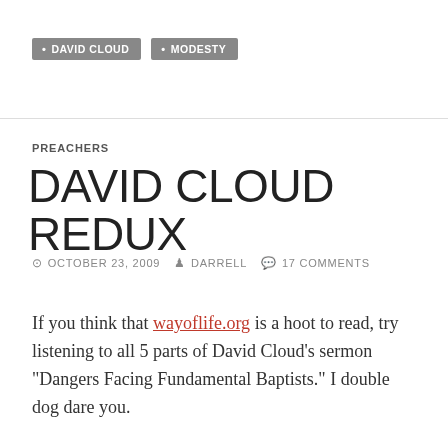DAVID CLOUD  MODESTY
PREACHERS
DAVID CLOUD REDUX
OCTOBER 23, 2009  DARRELL  17 COMMENTS
If you think that wayoflife.org is a hoot to read, try listening to all 5 parts of David Cloud’s sermon “Dangers Facing Fundamental Baptists.” I double dog dare you.